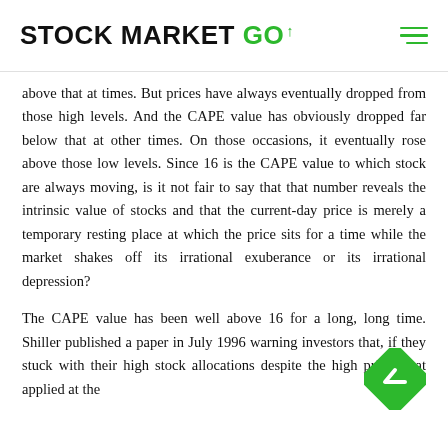STOCK MARKET GO
above that at times. But prices have always eventually dropped from those high levels. And the CAPE value has obviously dropped far below that at other times. On those occasions, it eventually rose above those low levels. Since 16 is the CAPE value to which stock are always moving, is it not fair to say that that number reveals the intrinsic value of stocks and that the current-day price is merely a temporary resting place at which the price sits for a time while the market shakes off its irrational exuberance or its irrational depression?
The CAPE value has been well above 16 for a long, long time. Shiller published a paper in July 1996 warning investors that, if they stuck with their high stock allocations despite the high prices that applied at the